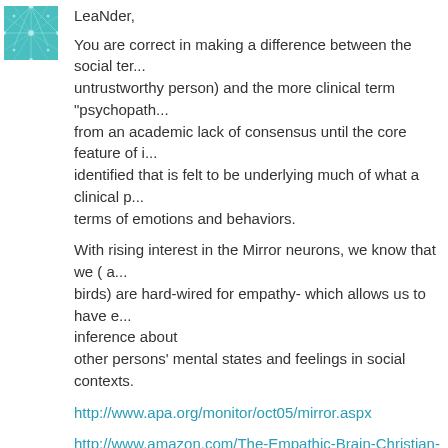[Figure (photo): Avatar image with teal/cyan network pattern on dark background]
LeaNder,
You are correct in making a difference between the social term (untrustworthy person) and the more clinical term "psychopath" which suffered from an academic lack of consensus until the core feature of it could be identified that is felt to be underlying much of what a clinical p... terms of emotions and behaviors.
With rising interest in the Mirror neurons, we know that we ( a... birds) are hard-wired for empathy- which allows us to have e... inference about other persons' mental states and feelings in social contexts.
http://www.apa.org/monitor/oct05/mirror.aspx
http://www.amazon.com/The-Empathic-Brain-Christian-Keyse
It appears that some individuals are born with defects in abilit... can be taught directly or indirectly to decrease empathy: the t... empathy" has been used.
Without naming it, training for warfare must involve erosion of... maximize efficiency of the warrior without allowing interferenc...
Posted by: fabs | 27 January 2015 at 12:39 PM